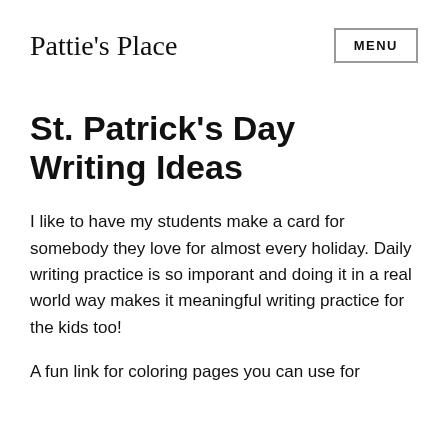Pattie's Place
St. Patrick's Day Writing Ideas
I like to have my students make a card for somebody they love for almost every holiday. Daily writing practice is so imporant and doing it in a real world way makes it meaningful writing practice for the kids too!
A fun link for coloring pages you can use for the front of your card or just for enjoyment: